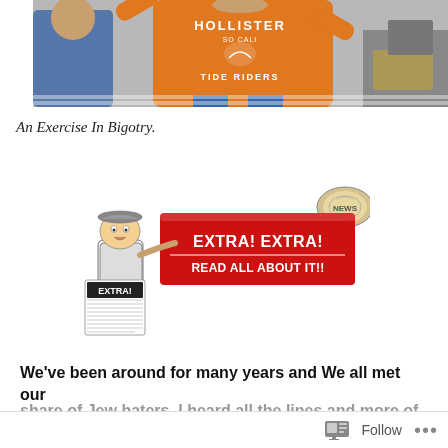[Figure (photo): Person in orange Hollister 'So Cal Tide Riders' t-shirt with arms raised]
An Exercise In Bigotry.
[Figure (illustration): Vintage newsboy cartoon holding EXTRA newspaper next to red banner reading 'EXTRA! EXTRA! READ ALL ABOUT IT!!' with a rolled newspaper graphic in upper right]
We've been around for many years and We all met our share of Jew haters. I heard all the lines and more of